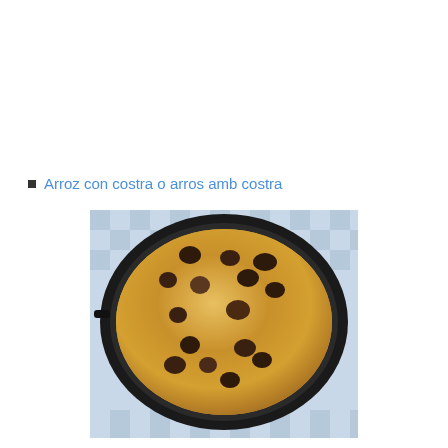Arroz con costra o arros amb costra
[Figure (photo): A round dark paella pan on a blue checkered tablecloth containing arroz con costra (rice with crust), showing a golden egg crust on top with dark meatballs or sausage pieces distributed throughout.]